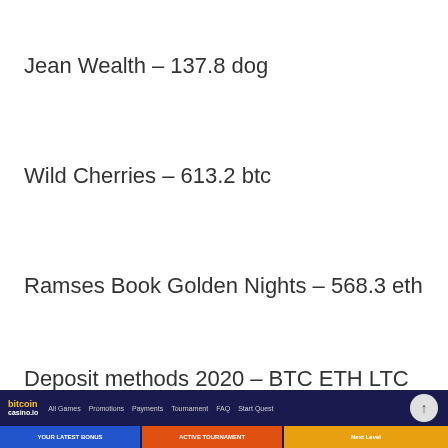Jean Wealth – 137.8 dog
Wild Cherries – 613.2 btc
Ramses Book Golden Nights – 568.3 eth
Deposit methods 2020 – BTC ETH LTC DOG USDT, Visa, MasterCard, Skrill, Neteller, PayPal, Bank transfer.
[Figure (screenshot): Screenshot of bitcoincasino.io website showing navigation bar with logo, menu links (All Games, Promotions, Payments, Tournament, FAQ, Start Quest), and promotional banners for Your Latest Bonus, Active Tournament, and Next Level sections.]